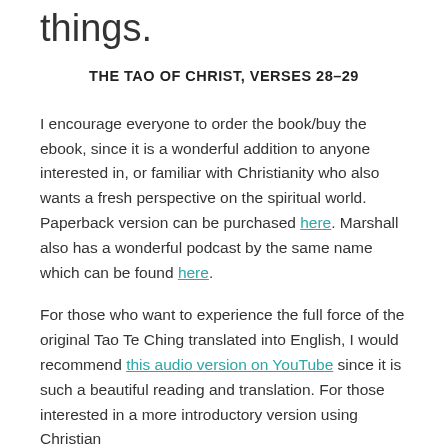things.
THE TAO OF CHRIST, VERSES 28–29
I encourage everyone to order the book/buy the ebook, since it is a wonderful addition to anyone interested in, or familiar with Christianity who also wants a fresh perspective on the spiritual world. Paperback version can be purchased here. Marshall also has a wonderful podcast by the same name which can be found here.
For those who want to experience the full force of the original Tao Te Ching translated into English, I would recommend this audio version on YouTube since it is such a beautiful reading and translation. For those interested in a more introductory version using Christian